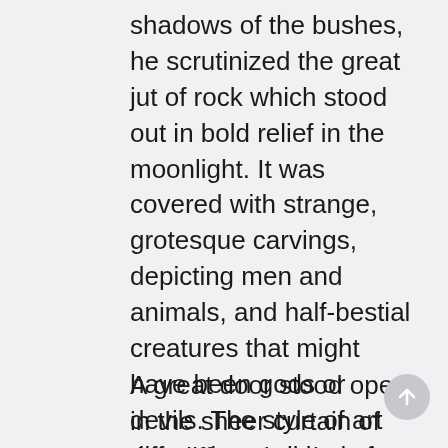shadows of the bushes, he scrutinized the great jut of rock which stood out in bold relief in the moonlight. It was covered with strange, grotesque carvings, depicting men and animals, and half-bestial creatures that might have been gods or devils. The style of art differed so strikingly from that of the rest of the valley, that Conan wondered if it did not represent a different era and race, and was itself a relic of an age lost and forgotten at whatever immeasurably distant date the people of Alkmeenon had found and entered the haunted valley.
A great door stood open in the sheer curtain of the cliff, and a gigantic dragon's head was carved about it so that the open